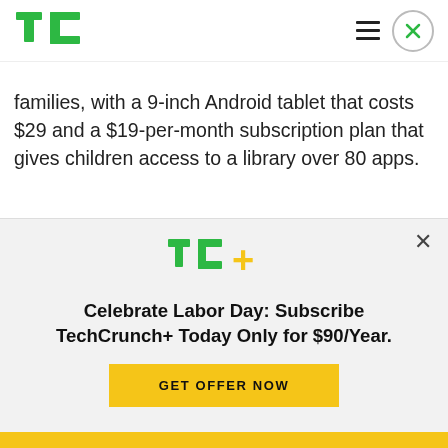TechCrunch logo and navigation
families, with a 9-inch Android tablet that costs $29 and a $19-per-month subscription plan that gives children access to a library over 80 apps.
Founder Steve Espinosa, formerly lead program manager of Google SMB revenue, left the company in July to focus on Puzzle Piece full time. Since then, Puzzle Piece has completely revamped its
[Figure (logo): TC+ logo with green TC and yellow plus sign]
Celebrate Labor Day: Subscribe TechCrunch+ Today Only for $90/Year.
GET OFFER NOW